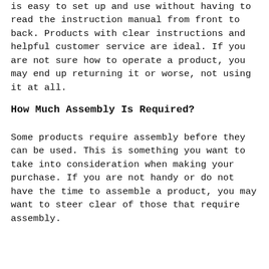is easy to set up and use without having to read the instruction manual from front to back. Products with clear instructions and helpful customer service are ideal. If you are not sure how to operate a product, you may end up returning it or worse, not using it at all.
How Much Assembly Is Required?
Some products require assembly before they can be used. This is something you want to take into consideration when making your purchase. If you are not handy or do not have the time to assemble a product, you may want to steer clear of those that require assembly.